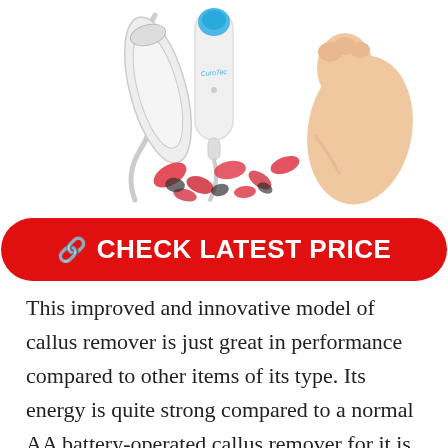[Figure (photo): Product photo of a callus remover device (white and blue electric foot file) with cord and attachments, rose petals scattered around it, alongside a bare human foot on white background]
CHECK LATEST PRICE
This improved and innovative model of callus remover is just great in performance compared to other items of its type. Its energy is quite strong compared to a normal AA battery-operated callus remover for it is